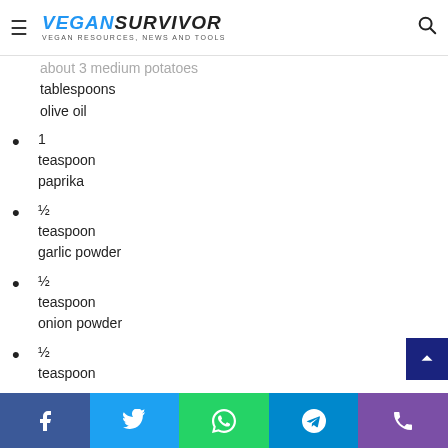VEGANSURVIVOR — VEGAN RESOURCES, NEWS AND TOOLS
tablespoons olive oil
1 teaspoon paprika
½ teaspoon garlic powder
½ teaspoon onion powder
½ teaspoon
Facebook | Twitter | WhatsApp | Telegram | Phone